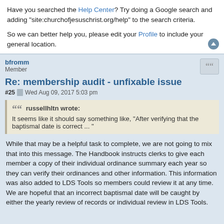Have you searched the Help Center? Try doing a Google search and adding "site:churchofjesuschrist.org/help" to the search criteria.
So we can better help you, please edit your Profile to include your general location.
bfromm
Member
Re: membership audit - unfixable issue
#25  Wed Aug 09, 2017 5:03 pm
russellhltn wrote:
It seems like it should say something like, "After verifying that the baptismal date is correct ... "
While that may be a helpful task to complete, we are not going to mix that into this message. The Handbook instructs clerks to give each member a copy of their individual ordinance summary each year so they can verify their ordinances and other information. This information was also added to LDS Tools so members could review it at any time. We are hopeful that an incorrect baptismal date will be caught by either the yearly review of records or individual review in LDS Tools.